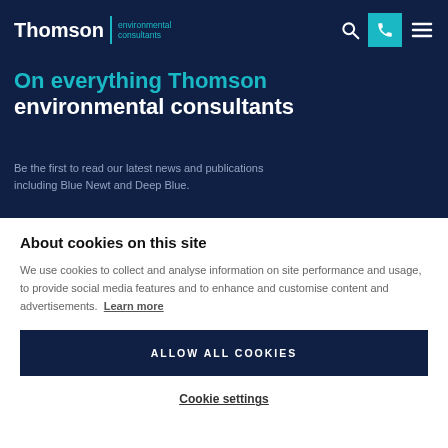Thomson | environmental consultants
On everything Thomson environmental consultants
Be the first to read our latest news and publications including Blue Newt and Deep Blue.
About cookies on this site
We use cookies to collect and analyse information on site performance and usage, to provide social media features and to enhance and customise content and advertisements. Learn more
ALLOW ALL COOKIES
Cookie settings